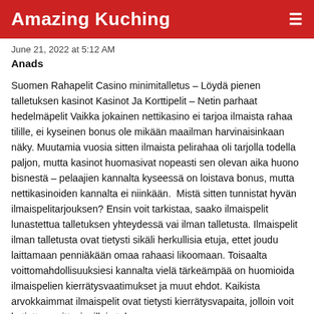Amazing Kuching
June 21, 2022 at 5:12 AM
Anads
Suomen Rahapelit Casino minimitalletus – Löydä pienen talletuksen kasinot Kasinot Ja Korttipelit – Netin parhaat hedelmäpelit Vaikka jokainen nettikasino ei tarjoa ilmaista rahaa tilille, ei kyseinen bonus ole mikään maailman harvinaisinkaan näky. Muutamia vuosia sitten ilmaista pelirahaa oli tarjolla todella paljon, mutta kasinot huomasivat nopeasti sen olevan aika huono bisnestä – pelaajien kannalta kyseessä on loistava bonus, mutta nettikasinoiden kannalta ei niinkään.  Mistä sitten tunnistat hyvän ilmaispelitarjouksen? Ensin voit tarkistaa, saako ilmaispelit lunastettua talletuksen yhteydessä vai ilman talletusta. Ilmaispelit ilman talletusta ovat tietysti sikäli herkullisia etuja, ettet joudu laittamaan penniäkään omaa rahaasi likoomaan. Toisaalta voittomahdollisuuksiesi kannalta vielä tärkeämpää on huomioida ilmaispelien kierrätysvaatimukset ja muut ehdot. Kaikista arvokkaimmat ilmaispelit ovat tietysti kierrätysvapaita, jolloin voit kotiuttaa voittosi milloin tahansa.